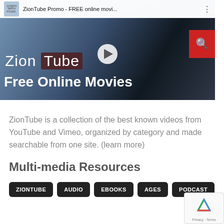[Figure (screenshot): YouTube-style video thumbnail showing ZionTube Promo - FREE online movi... with channel icon, title bar, play button, ZionTube branding and Free Online Movies text, and a red search button]
ZionTube is a collection of the best known videos from YouTube and Vimeo, organized by category and made searchable from one site. (learn more)
Multi-media Resources
ZIONTUBE
AUDIO
EBOOKS
AGES
PODCAST